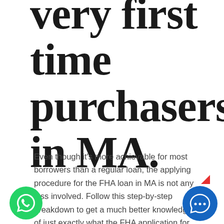very first time purchasers in MA.
Even though it's more achievable for most borrowers than a regular loan, the applying procedure for the FHA loan in MA is not any less involved. Follow this step-by-step breakdown to get a much better knowledge of just exactly what the FHA application for